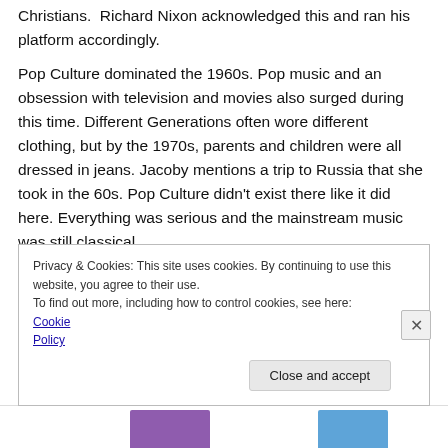Christians.  Richard Nixon acknowledged this and ran his platform accordingly.
Pop Culture dominated the 1960s. Pop music and an obsession with television and movies also surged during this time. Different Generations often wore different clothing, but by the 1970s, parents and children were all dressed in jeans. Jacoby mentions a trip to Russia that she took in the 60s. Pop Culture didn't exist there like it did here. Everything was serious and the mainstream music was still classical.
Privacy & Cookies: This site uses cookies. By continuing to use this website, you agree to their use.
To find out more, including how to control cookies, see here: Cookie Policy